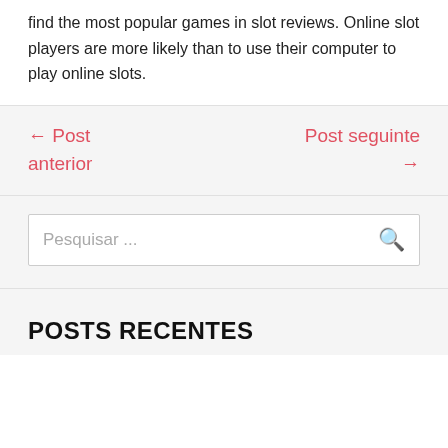find the most popular games in slot reviews. Online slot players are more likely than to use their computer to play online slots.
← Post anterior
Post seguinte →
Pesquisar ...
POSTS RECENTES